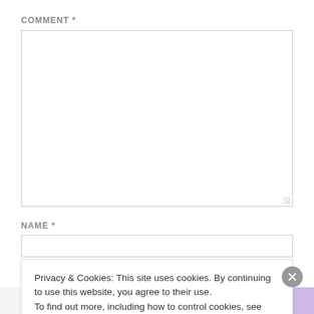COMMENT *
[Figure (screenshot): Empty comment textarea input box with resize handle]
NAME *
[Figure (screenshot): Empty name text input box]
Privacy & Cookies: This site uses cookies. By continuing to use this website, you agree to their use.
To find out more, including how to control cookies, see here: Cookie Policy
Close and accept